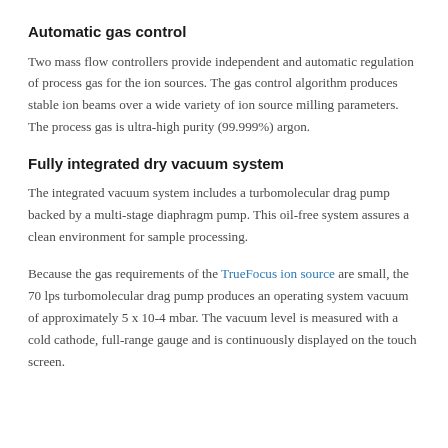Automatic gas control
Two mass flow controllers provide independent and automatic regulation of process gas for the ion sources. The gas control algorithm produces stable ion beams over a wide variety of ion source milling parameters. The process gas is ultra-high purity (99.999%) argon.
Fully integrated dry vacuum system
The integrated vacuum system includes a turbomolecular drag pump backed by a multi-stage diaphragm pump. This oil-free system assures a clean environment for sample processing.
Because the gas requirements of the TrueFocus ion source are small, the 70 lps turbomolecular drag pump produces an operating system vacuum of approximately 5 x 10-4 mbar. The vacuum level is measured with a cold cathode, full-range gauge and is continuously displayed on the touch screen.